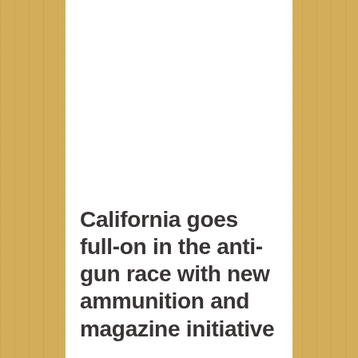California goes full-on in the anti-gun race with new ammunition and magazine initiative